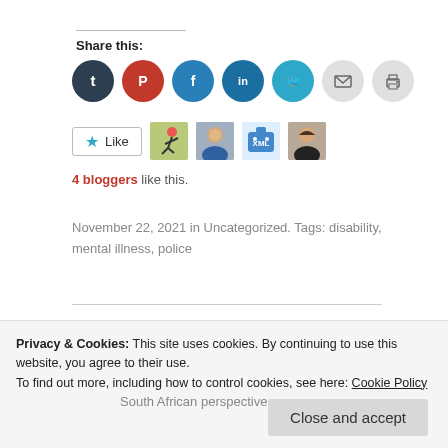Share this:
[Figure (infographic): Row of social share icons: Tumblr (dark navy), Pinterest (red), Facebook (blue), LinkedIn (dark blue), Twitter (cyan), Email (light gray), Print (light gray)]
[Figure (infographic): Like button with star icon followed by four blogger avatar thumbnails]
4 bloggers like this.
November 22, 2021 in Uncategorized. Tags: disability, mental illness, police
Related posts
The Paradigm Shift on Disability and its
South African perspective
Privacy & Cookies: This site uses cookies. By continuing to use this website, you agree to their use.
To find out more, including how to control cookies, see here: Cookie Policy
Close and accept